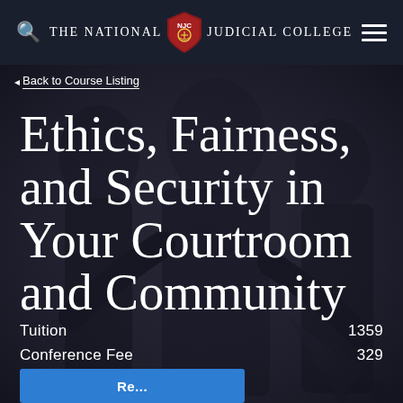The National Judicial College
◄ Back to Course Listing
Ethics, Fairness, and Security in Your Courtroom and Community
Tuition  1359
Conference Fee  329